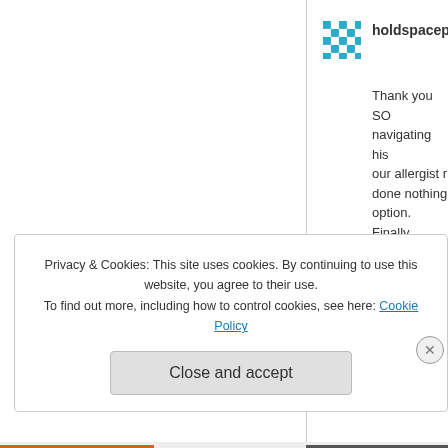[Figure (illustration): Teal/cyan checkered avatar icon for user holdspacepro]
holdspacepro
Thank you SO navigating his our allergist r done nothing option. Finally soon! Also ju help my son's
★ Liked by 1 p
Reply
Privacy & Cookies: This site uses cookies. By continuing to use this website, you agree to their use.
To find out more, including how to control cookies, see here: Cookie Policy
Close and accept